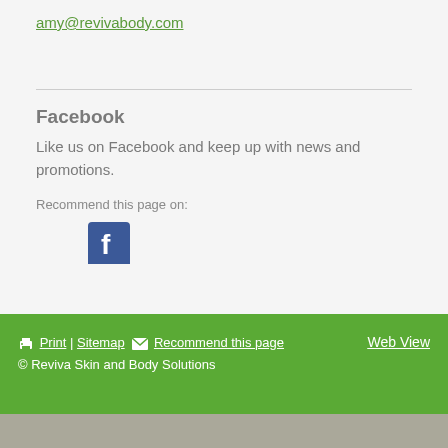amy@revivabody.com
Facebook
Like us on Facebook and keep up with news and promotions.
Recommend this page on:
[Figure (logo): Facebook logo button icon, blue square with white 'f']
Print | Sitemap   Recommend this page   Web View
© Reviva Skin and Body Solutions